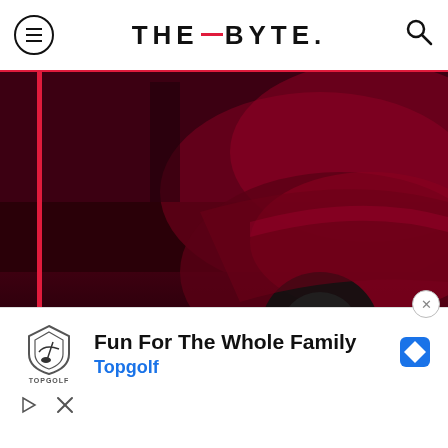THE_BYTE.
[Figure (photo): Dark red-tinted image of a car (Tesla-like) in a parking garage or showroom. Date 'AUG 15' shown bottom-left. 'READ MORE' text bottom-right. Arrow pointing right. Red play button overlay bottom-left.]
[Figure (infographic): Advertisement banner: Topgolf logo with shield icon, text 'Fun For The Whole Family' and 'Topgolf' in blue, blue diamond icon on right. Ad controls (play triangle icon, close X) below.]